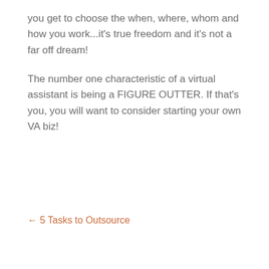you get to choose the when, where, whom and how you work...it's true freedom and it's not a far off dream!
The number one characteristic of a virtual assistant is being a FIGURE OUTTER. If that's you, you will want to consider starting your own VA biz!
← 5 Tasks to Outsource